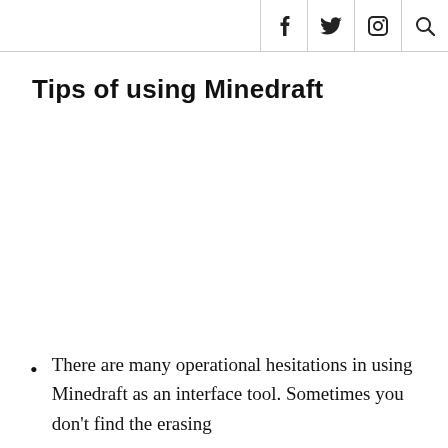f  [twitter]  [instagram]  [search]
Tips of using Minedraft
There are many operational hesitations in using Minedraft as an interface tool. Sometimes you don't find the erasing